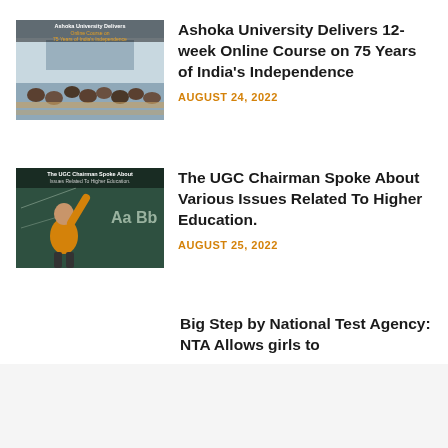[Figure (photo): Classroom with students sitting at desks viewed from behind, lecture hall setting. Text overlay: Ashoka University Delivers Online Course on 75 Years of India's Independence]
Ashoka University Delivers 12-week Online Course on 75 Years of India's Independence
AUGUST 24, 2022
[Figure (photo): Child in yellow sweater raising hand in front of chalkboard with 'Aa Bb' written on it. Text overlay: The UGC Chairman Spoke About Issues Related To Higher Education.]
The UGC Chairman Spoke About Various Issues Related To Higher Education.
AUGUST 25, 2022
Big Step by National Test Agency: NTA Allows girls to